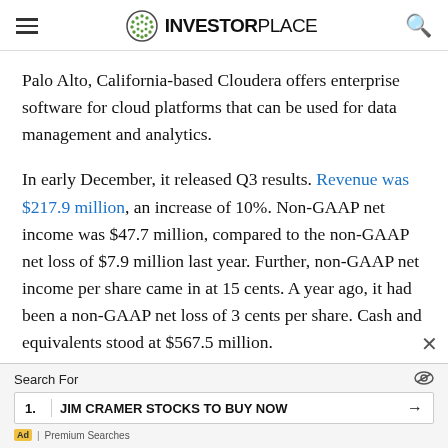INVESTORPLACE
Palo Alto, California-based Cloudera offers enterprise software for cloud platforms that can be used for data management and analytics.
In early December, it released Q3 results. Revenue was $217.9 million, an increase of 10%. Non-GAAP net income was $47.7 million, compared to the non-GAAP net loss of $7.9 million last year. Further, non-GAAP net income per share came in at 15 cents. A year ago, it had been a non-GAAP net loss of 3 cents per share. Cash and equivalents stood at $567.5 million.
Search For | 1. JIM CRAMER STOCKS TO BUY NOW | Ad | Premium Searches